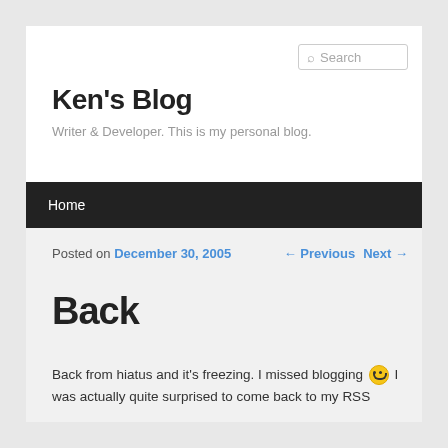Search
Ken's Blog
Writer & Developer. This is my personal blog.
Home
Posted on December 30, 2005 ← Previous Next →
Back
Back from hiatus and it's freezing. I missed blogging 🙂 I was actually quite surprised to come back to my RSS